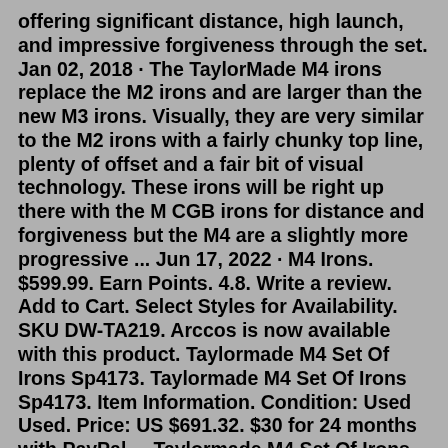offering significant distance, high launch, and impressive forgiveness through the set. Jan 02, 2018 · The TaylorMade M4 irons replace the M2 irons and are larger than the new M3 irons. Visually, they are very similar to the M2 irons with a fairly chunky top line, plenty of offset and a fair bit of visual technology. These irons will be right up there with the M CGB irons for distance and forgiveness but the M4 are a slightly more progressive ... Jun 17, 2022 · M4 Irons. $599.99. Earn Points. 4.8. Write a review. Add to Cart. Select Styles for Availability. SKU DW-TA219. Arccos is now available with this product. Taylormade M4 Set Of Irons Sp4173. Taylormade M4 Set Of Irons Sp4173. Item Information. Condition: Used Used. Price: US $691.32. $30 for 24 months with PayPal ... Taylormade M4 Set Of Irons Sp4173. Taylormade M4 Set Of Irons Sp4173. Item Information. Condition: Used Used. Price: US $691.32. $30 for 24 months with PayPal ... Review: The TaylorMade M4 game-improvement iron, which could be described as the 2018 Golf Dire...